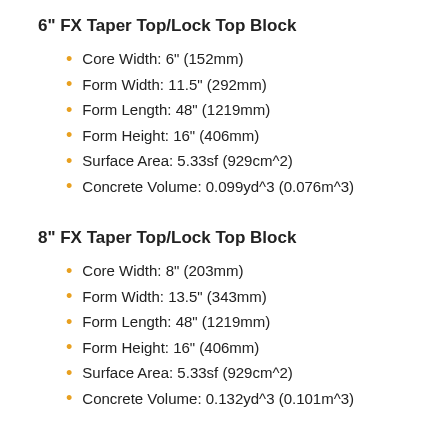6" FX Taper Top/Lock Top Block
Core Width: 6" (152mm)
Form Width: 11.5" (292mm)
Form Length: 48" (1219mm)
Form Height: 16" (406mm)
Surface Area: 5.33sf (929cm^2)
Concrete Volume: 0.099yd^3 (0.076m^3)
8" FX Taper Top/Lock Top Block
Core Width: 8" (203mm)
Form Width: 13.5" (343mm)
Form Length: 48" (1219mm)
Form Height: 16" (406mm)
Surface Area: 5.33sf (929cm^2)
Concrete Volume: 0.132yd^3 (0.101m^3)